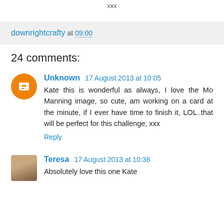xxx
downrightcrafty at 09:00
24 comments:
Unknown 17 August 2013 at 10:05
Kate this is wonderful as always, I love the Mo Manning image, so cute, am working on a card at the minute, if I ever have time to finish it, LOL..that will be perfect for this challenge, xxx
Reply
Teresa 17 August 2013 at 10:38
Absolutely love this one Kate